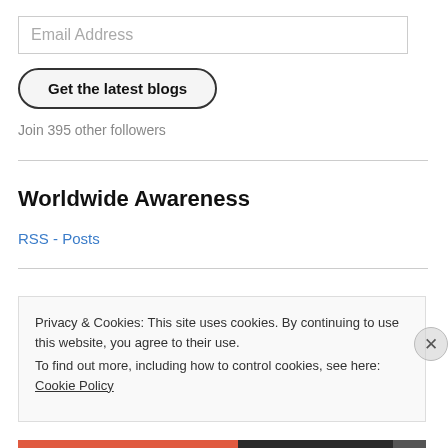Email Address
Get the latest blogs
Join 395 other followers
Worldwide Awareness
RSS - Posts
Privacy & Cookies: This site uses cookies. By continuing to use this website, you agree to their use.
To find out more, including how to control cookies, see here: Cookie Policy
Close and accept